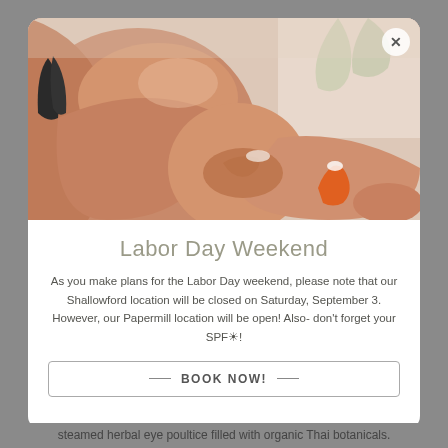[Figure (photo): Woman in bikini applying sunscreen lotion to her knee/leg, seated outdoors with bright light background, orange sunscreen bottle visible]
Labor Day Weekend
As you make plans for the Labor Day weekend, please note that our Shallowford location will be closed on Saturday, September 3. However, our Papermill location will be open! Also- don't forget your SPF☀!
BOOK NOW!
steamed herbal eye poultice filled with organic Thai botanicals.